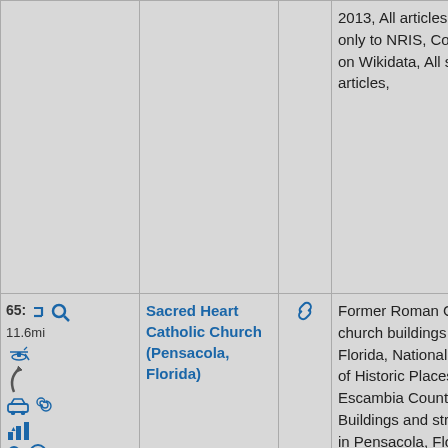| Controls | Name | Link | Categories | Image |
| --- | --- | --- | --- | --- |
| (continuation from above row) | (continuation) | (continuation) | 2013, All articles sourced only to NRIS, Coordinates on Wikidata, All stub articles, |  |
| 65: 11.6mi [icons] | Sacred Heart Catholic Church (Pensacola, Florida) | [link icon] | Former Roman Catholic church buildings in Florida, National Register of Historic Places in Escambia County, Florida, Buildings and structures in Pensacola, Florida, Visitor attractions in Pensacola, Florida, Churches in Escambia County, | [photo of Sacred Heart Catholic Church] |